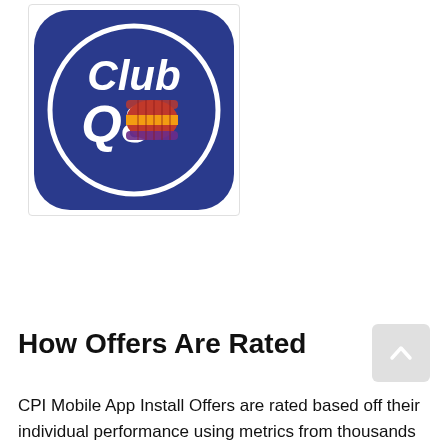[Figure (logo): Club Q8 app logo — rounded square with dark blue background, white circle outline, white text 'Club Q8' and a stylized Q8 fuel company shell/flame icon in red, yellow, and purple horizontal stripes]
How Offers Are Rated
CPI Mobile App Install Offers are rated based off their individual performance using metrics from thousands of app developers.